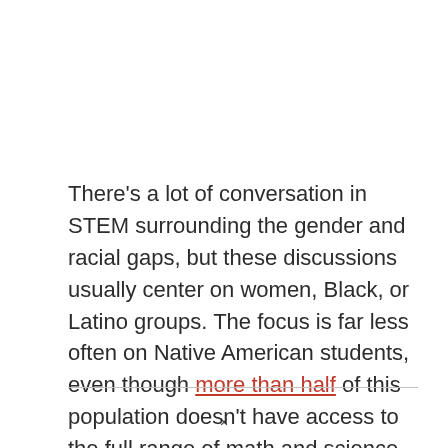There's a lot of conversation in STEM surrounding the gender and racial gaps, but these discussions usually center on women, Black, or Latino groups. The focus is far less often on Native American students, even though more than half of this population doesn't have access to the full range of math and science courses in school.
×